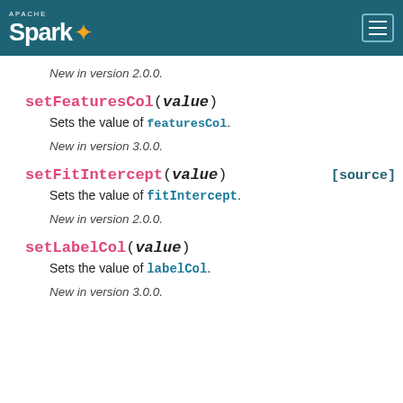Apache Spark
New in version 2.0.0.
setFeaturesCol(value)
Sets the value of featuresCol.
New in version 3.0.0.
setFitIntercept(value)  [source]
Sets the value of fitIntercept.
New in version 2.0.0.
setLabelCol(value)
Sets the value of labelCol.
New in version 3.0.0.